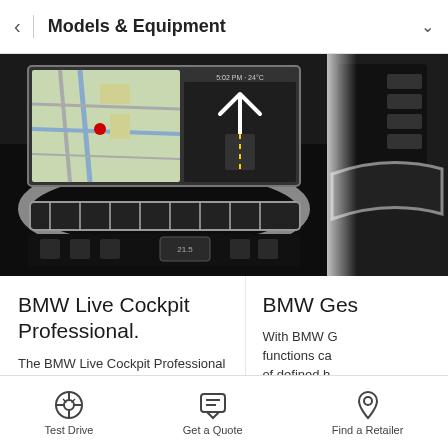Models & Equipment
[Figure (screenshot): BMW dashboard interior showing navigation screen with map display and climate control panel]
[Figure (screenshot): Partial view of BMW dashboard/interior, right side]
BMW Live Cockpit Professional.
The BMW Live Cockpit Professional with navigation function includes a
BMW Ges
With BMW G functions ca of defined h
Test Drive  Get a Quote  Find a Retailer